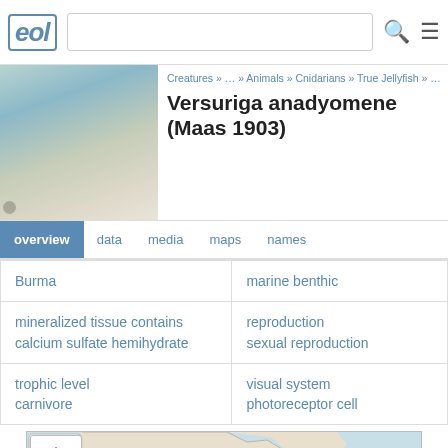eol [logo] [search bar] [search icon] [menu icon]
[Figure (photo): Close-up photo of a jellyfish or marine organism, pale/translucent with bluish tones]
Creatures » … » Animals » Cnidarians » True Jellyfish » … » Versuriga
Versuriga anadyomene (Maas 1903)
overview   data   media   maps   names
| Burma | marine benthic |
| mineralized tissue contains
calcium sulfate hemihydrate | reproduction
sexual reproduction |
| trophic level
carnivore | visual system
photoreceptor cell |
[Figure (map): Map showing East Asia and surrounding ocean, with zoom and navigation controls. Shows China coastline and surrounding seas.]